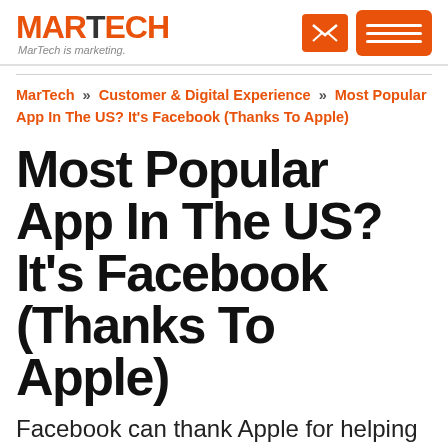MARTECH — MarTech is marketing.
MarTech » Customer & Digital Experience » Most Popular App In The US? It's Facebook (Thanks To Apple)
Most Popular App In The US? It's Facebook (Thanks To Apple)
Facebook can thank Apple for helping making it the top overall mobile app in the U.S. in 2012, according to new numbers